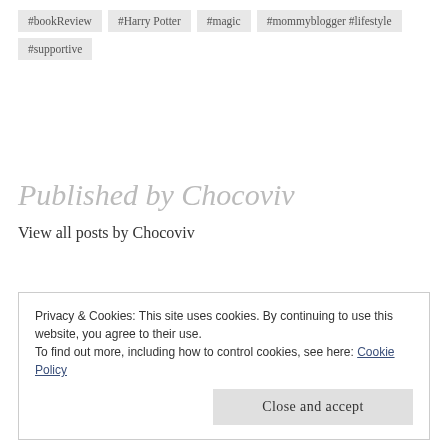#bookReview
#Harry Potter
#magic
#mommyblogger #lifestyle
#supportive
Published by Chocoviv
View all posts by Chocoviv
Privacy & Cookies: This site uses cookies. By continuing to use this website, you agree to their use.
To find out more, including how to control cookies, see here: Cookie Policy
Close and accept